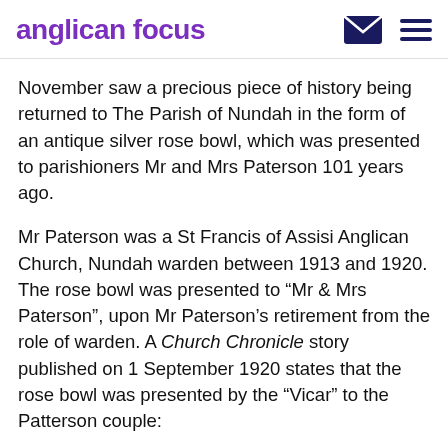anglican focus
November saw a precious piece of history being returned to The Parish of Nundah in the form of an antique silver rose bowl, which was presented to parishioners Mr and Mrs Paterson 101 years ago.
Mr Paterson was a St Francis of Assisi Anglican Church, Nundah warden between 1913 and 1920. The rose bowl was presented to “Mr & Mrs Paterson”, upon Mr Paterson’s retirement from the role of warden. A Church Chronicle story published on 1 September 1920 states that the rose bowl was presented by the “Vicar” to the Patterson couple:
“as a token of the esteem and gratitude of the congregation, remarking that what impressed him most about the work of them both that it was the work